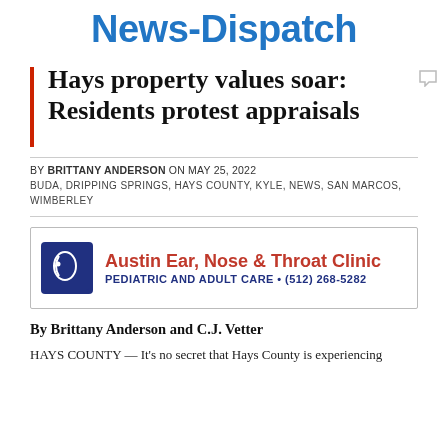News-Dispatch
Hays property values soar: Residents protest appraisals
BY BRITTANY ANDERSON ON MAY 25, 2022
BUDA, DRIPPING SPRINGS, HAYS COUNTY, KYLE, NEWS, SAN MARCOS, WIMBERLEY
[Figure (other): Advertisement for Austin Ear, Nose & Throat Clinic. PEDIATRIC AND ADULT CARE • (512) 268-5282]
By Brittany Anderson and C.J. Vetter
HAYS COUNTY — It's no secret that Hays County is experiencing